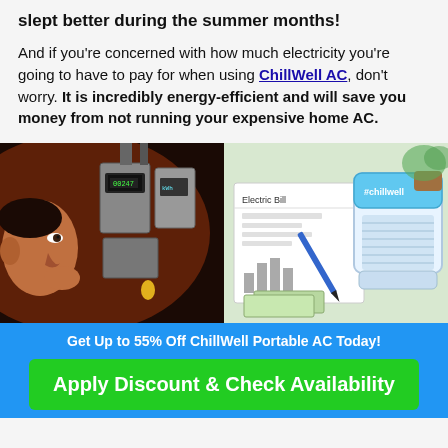slept better during the summer months!
And if you're concerned with how much electricity you're going to have to pay for when using ChillWell AC, don't worry. It is incredibly energy-efficient and will save you money from not running your expensive home AC.
[Figure (photo): Left: man looking concerned at electric meters/utility boxes. Right: electric bill with a ChillWell portable AC unit and cash bills.]
Get Up to 55% Off ChillWell Portable AC Today!
Apply Discount & Check Availability